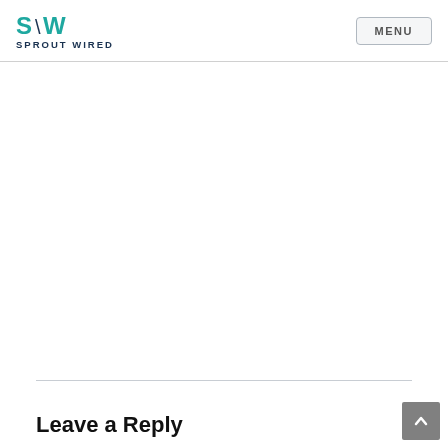SPROUT WIRED | MENU
Leave a Reply